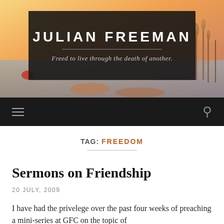[Figure (photo): Sunset landscape photo with water, rocks, and reeds used as website header background]
JULIAN FREEMAN
Freed to live through the death of another.
TAG: FREEDOM
Sermons on Friendship
20 JULY, 2009
I have had the privelege over the past four weeks of preaching a mini-series at GFC on the topic of